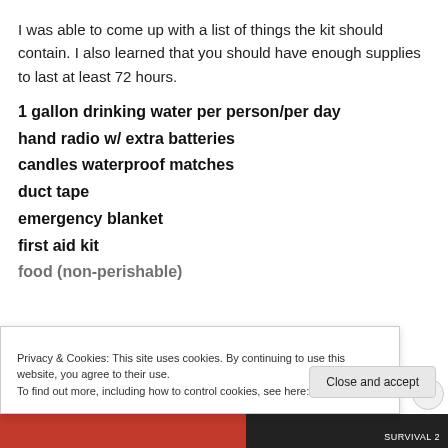I was able to come up with a list of things the kit should contain. I also learned that you should have enough supplies to last at least 72 hours.
1 gallon drinking water per person/per day
hand radio w/ extra batteries
candles waterproof matches
duct tape
emergency blanket
first aid kit
food (non-perishable)
Privacy & Cookies: This site uses cookies. By continuing to use this website, you agree to their use.
To find out more, including how to control cookies, see here: Cookie Policy